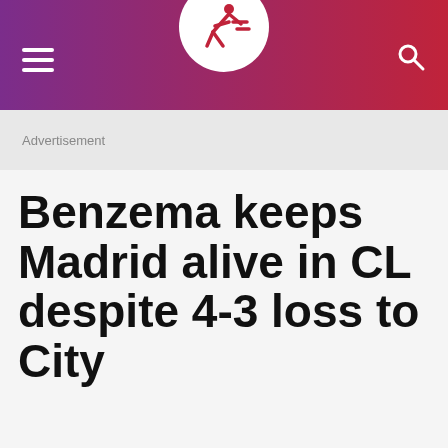[Figure (logo): News website header bar with hamburger menu on left, circular logo with running figure icon in center, search icon on right. Gradient background from purple to red.]
Advertisement
Benzema keeps Madrid alive in CL despite 4-3 loss to City